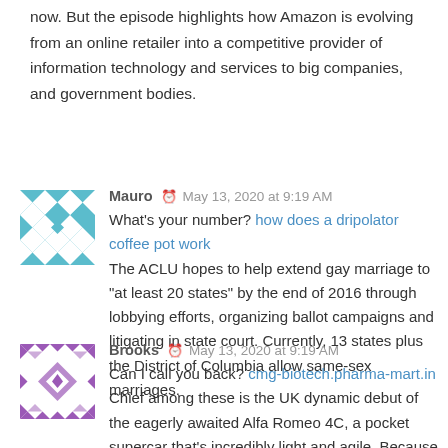now. But the episode highlights how Amazon is evolving from an online retailer into a competitive provider of information technology and services to big companies, and government bodies.
Mauro  May 13, 2020 at 9:19 AM
What's your number? how does a dripolator coffee pot work
The ACLU hopes to help extend gay marriage to “at least 20 states” by the end of 2016 through lobbying efforts, organizing ballot campaigns and litigating in state court. Currently, 13 states plus the District of Columbia allow same-sex marriages.
Brooks  May 13, 2020 at 9:19 AM
Can I call you back? cmg-biotech.pharma-mart.in
Chief among these is the UK dynamic debut of the eagerly awaited Alfa Romeo 4C, a pocket supercar that’s incredibly light and agile. Because of its featherweight carbon-fibre construction, the Alfa doesn’t need a monster engine; a